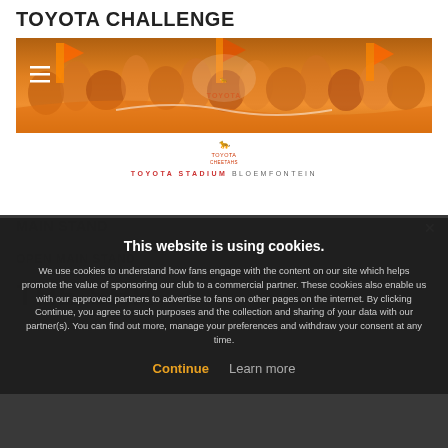TOYOTA CHALLENGE
[Figure (photo): Orange-clad crowd banner at Toyota Stadium Bloemfontein with Toyota Cheetahs logo and Toyota Challenge branding]
MAIN STAND
OPEN MAIN STAND
THE SHR...
This website is using cookies.

We use cookies to understand how fans engage with the content on our site which helps promote the value of sponsoring our club to a commercial partner. These cookies also enable us with our approved partners to advertise to fans on other pages on the internet. By clicking Continue, you agree to such purposes and the collection and sharing of your data with our partner(s). You can find out more, manage your preferences and withdraw your consent at any time.

Continue   Learn more